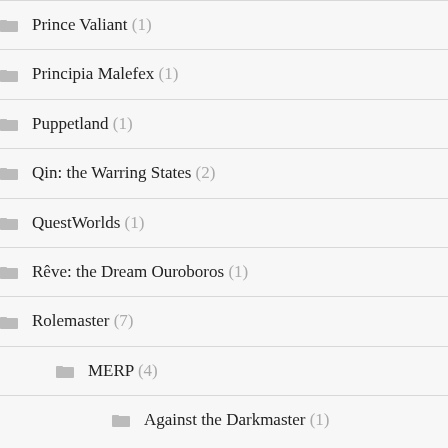Prince Valiant (1)
Principia Malefex (1)
Puppetland (1)
Qin: the Warring States (2)
QuestWorlds (1)
Rêve: the Dream Ouroboros (1)
Rolemaster (7)
MERP (4)
Against the Darkmaster (1)